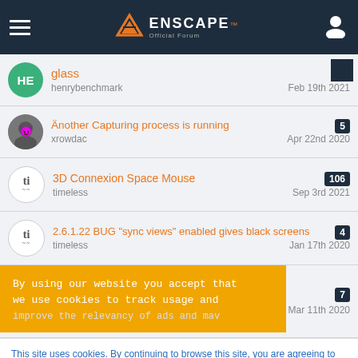Enscape Official Forum
glass — henrybenchmark — Feb 19th 2021
Another Capturing process is running — xrowdac — Apr 22nd 2020 — 5 replies
3D Connexion Space Mouse — timeless — Sep 3rd 2021 — 106 replies
2.6.1.22 BUG "sync views" enabled gives black screens — timeless — Jan 17th 2020 — 4 replies
By using our website you accept that we use cookies to track usage and improve the relevancy of ads and may...
This site uses cookies. By continuing to browse this site, you are agreeing to our use of cookies.
More Details   Close